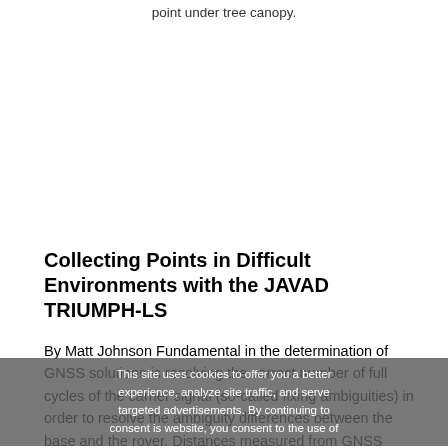point under tree canopy.
Collecting Points in Difficult Environments with the JAVAD TRIUMPH-LS
By Matt Johnson Fundamental in the determination of GNSS solutions is resolving the correct number of full cycles of the carrier signal (so-called fixing ambiguities) in order to resolve the ambiguity differences between the base and the rover. Distances measured from GNSS receivers conta...